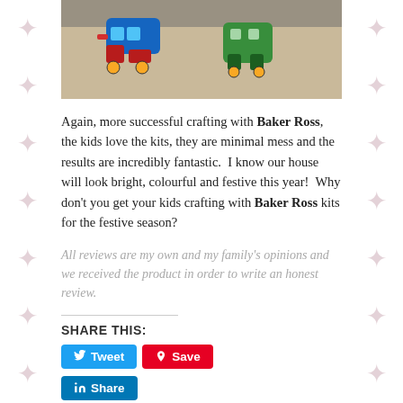[Figure (photo): Photo of colorful foam puzzle craft pieces shaped like reindeer/characters on a carpet background. Pieces include blue and red train-like figure and green reindeer figure.]
Again, more successful crafting with Baker Ross, the kids love the kits, they are minimal mess and the results are incredibly fantastic.  I know our house will look bright, colourful and festive this year!  Why don't you get your kids crafting with Baker Ross kits for the festive season?
All reviews are my own and my family's opinions and we received the product in order to write an honest review.
SHARE THIS:
Tweet | Save | Share (social share buttons)
Posted in Reviews | Tagged baker ross, Christmas, crafts, fun, kids, reindeer | Leave a reply